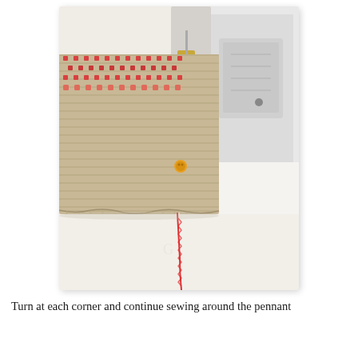[Figure (photo): Close-up photograph of a woven jute/burlap fabric with red and beige pattern being sewn on a sewing machine. A red and white striped baker's twine hangs from the bottom edge of the fabric. The sewing machine foot and needle are visible at the right side of the image.]
Turn at each corner and continue sewing around the pennant